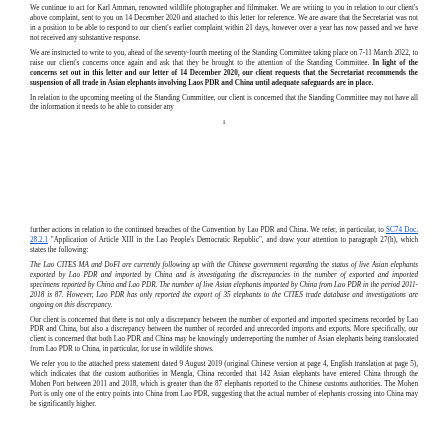We continue to act for Karl Amman, renowned wildlife photographer and filmmaker. We are writing to you in relation to our client's above complaint, sent to you on 14 December 2020 and attached to this letter for reference. We are aware that the Secretariat was not in a position to be able to respond to our client's earlier complaint within 21 days, however over a year has now passed and we have not received any substantive response.
We are instructed to write to you, ahead of the seventy-fourth meeting of the Standing Committee taking place on 7-11 March 2022, to raise our client's concerns once again and ask that they be brought to the attention of the Standing Committee. In light of the concerns set out in this letter and our letter of 14 December 2020, our client requests that the Secretariat recommends the suspension of all trade in Asian elephants involving Laos PDR and China until adequate safeguards are in place.
In relation to the upcoming meeting of the Standing Committee, our client is concerned that the Standing Committee may not have all the information it needs to be able to consider any
1
further actions in relation to the continued breaches of the Convention by Lao PDR and China. We refer, in particular, to SC74 Doc. 28.2.1 "Application of Article XIII in the Lao People's Democratic Republic", and draw your attention to paragraph 27(h), which states the following:
The Lao CITES MA and DoFI are currently following up with the Chinese government regarding the status of live Asian elephants exported by Lao PDR and imported by China and is investigating the discrepancies in the number of exported and imported specimens reported by China and Lao PDR. The number of live Asian elephants imported by China from Lao PDR in the period 2011-2018 is 87. However, Lao PDR has only reported the export of 35 elephants to the CITES trade database and investigations are ongoing on this discrepancy.
Our client is concerned that there is not only a discrepancy between the number of exported and imported specimens recorded by Lao PDR and China, but also a discrepancy between the number of recorded and unrecorded imports and exports. More specifically, our client is concerned that both Lao PDR and China may be knowingly underreporting the number of Asian elephants being translocated from Lao PDR to China, in particular, for use in wildlife shows.
We refer you to the attached press statement dated 9 August 2019 (original Chinese version at page 4, English translation at page 5), which indicates that the custom authorities in Mengla, China recorded that 142 Asian elephants have entered China through the Mohen Port between 2011 and 2018, which is greater than the 87 elephants reported to the Chinese customs authorities. The Mohen Port is only one of the entry points into China from Lao PDR, suggesting that the actual number of elephants crossing into China may be significantly higher.